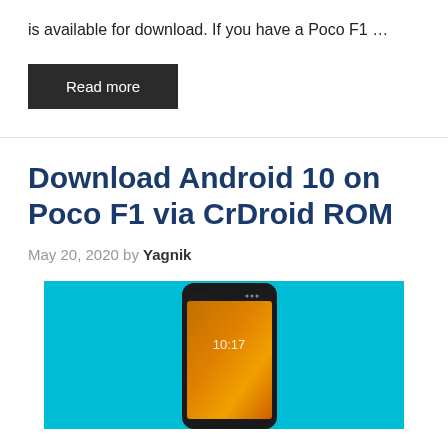is available for download. If you have a Poco F1 …
Read more
Download Android 10 on Poco F1 via CrDroid ROM
May 20, 2020 by Yagnik
[Figure (photo): Poco F1 smartphone on teal background displaying 10:17 on screen]